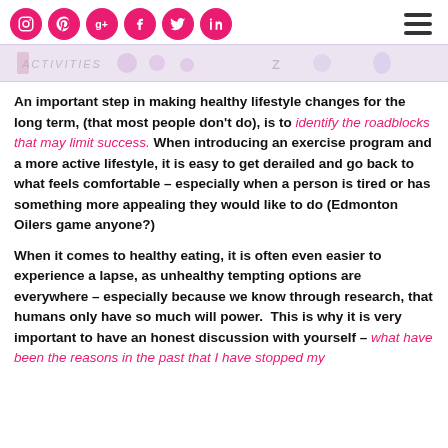[social icons: instagram, pinterest, google+, facebook, twitter, linkedin] [hamburger menu]
[Figure (illustration): Banner image showing lifestyle activities icons on a light purple background with the word ACTIVITIES]
An important step in making healthy lifestyle changes for the long term, (that most people don't do), is to identify the roadblocks that may limit success. When introducing an exercise program and a more active lifestyle, it is easy to get derailed and go back to what feels comfortable – especially when a person is tired or has something more appealing they would like to do (Edmonton Oilers game anyone?)
When it comes to healthy eating, it is often even easier to experience a lapse, as unhealthy tempting options are everywhere – especially because we know through research, that humans only have so much will power.  This is why it is very important to have an honest discussion with yourself – what have been the reasons in the past that I have stopped my